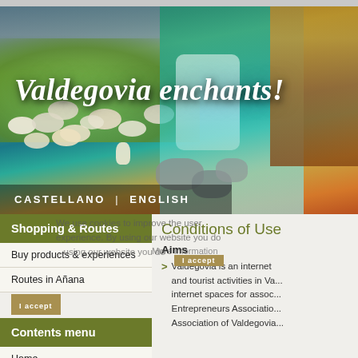[Figure (photo): Website header banner showing scenic Valdegovia landscapes: green pastures with sheep and a sheepdog on the left, a blue waterfall with mossy rocks in the center, and autumn trees on the right. Large white italic text reads 'Valdegovia enchants!' with language options 'CASTELLANO | ENGLISH' at the bottom.]
Valdegovia enchants!
CASTELLANO | ENGLISH
We use cookies to improve the user experience. By using our website you do ...
More information
Shopping & Routes
Buy products & experiences
Routes in Añana
Contents menu
Home
Conditions of Use
Aims
Valdegovia is an internet and tourist activities in Va... internet spaces for assoc... Entrepreneurs Associatio... Association of Valdegovia...